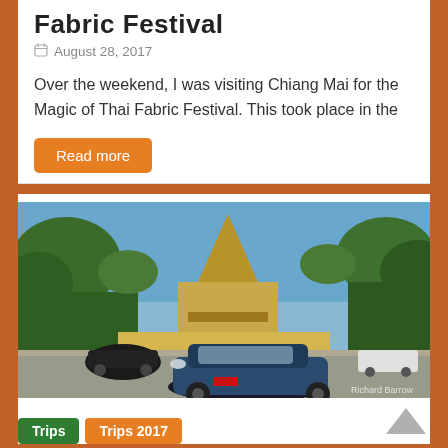Fabric Festival
August 28, 2017
Over the weekend, I was visiting Chiang Mai for the Magic of Thai Fabric Festival. This took place in the
Read more
[Figure (photo): A blue Mazda car parked on a street with a large golden Buddhist chedi (Phra Pathom Chedi) in the background, surrounded by trees. Photo credit: Richard Barrow]
Trips
Trips 2017